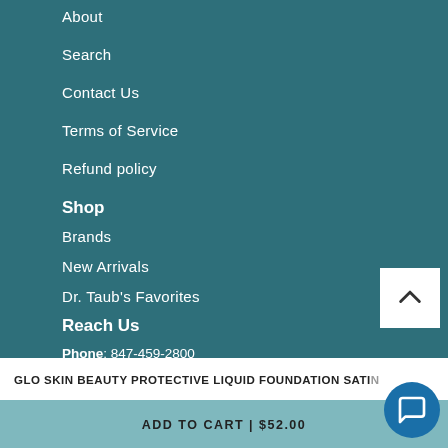About
Search
Contact Us
Terms of Service
Refund policy
Shop
Brands
New Arrivals
Dr. Taub's Favorites
Reach Us
Phone: 847-459-2800
Locations: Glencoe | Lincolnshire
GLO SKIN BEAUTY PROTECTIVE LIQUID FOUNDATION SATI...
ADD TO CART | $52.00